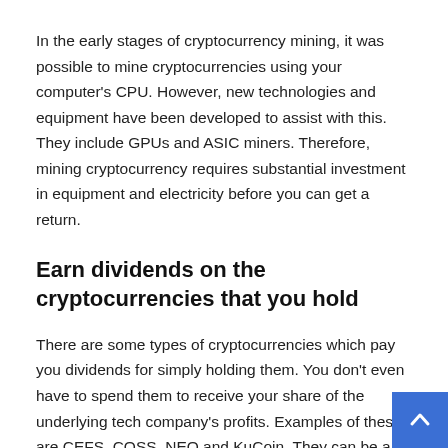In the early stages of cryptocurrency mining, it was possible to mine cryptocurrencies using your computer's CPU. However, new technologies and equipment have been developed to assist with this. They include GPUs and ASIC miners. Therefore, mining cryptocurrency requires substantial investment in equipment and electricity before you can get a return.
Earn dividends on the cryptocurrencies that you hold
There are some types of cryptocurrencies which pay you dividends for simply holding them. You don't even have to spend them to receive your share of the underlying tech company's profits. Examples of these are CEFS, COSS, NEO and KuCoin. They can be a great addition to your digital portfolio.